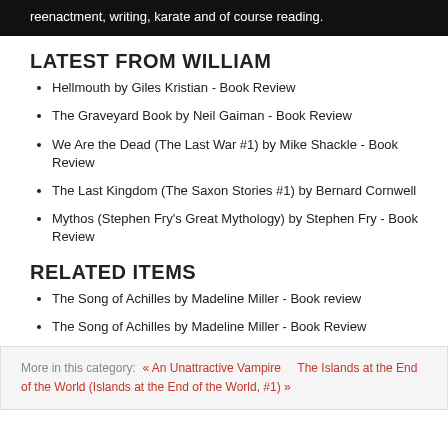reenactment, writing, karate and of course reading.
LATEST FROM WILLIAM
Hellmouth by Giles Kristian - Book Review
The Graveyard Book by Neil Gaiman - Book Review
We Are the Dead (The Last War #1) by Mike Shackle - Book Review
The Last Kingdom (The Saxon Stories #1) by Bernard Cornwell
Mythos (Stephen Fry's Great Mythology) by Stephen Fry - Book Review
RELATED ITEMS
The Song of Achilles by Madeline Miller - Book review
The Song of Achilles by Madeline Miller - Book Review
More in this category: « An Unattractive Vampire   The Islands at the End of the World (Islands at the End of the World, #1) »